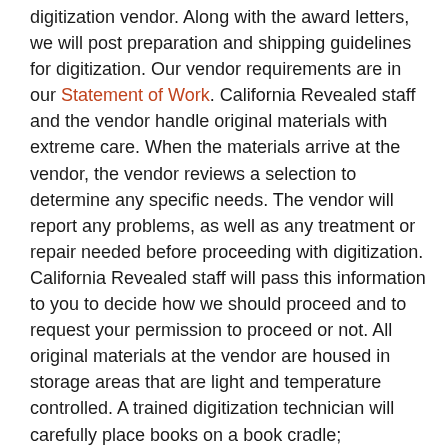digitization vendor. Along with the award letters, we will post preparation and shipping guidelines for digitization. Our vendor requirements are in our Statement of Work. California Revealed staff and the vendor handle original materials with extreme care. When the materials arrive at the vendor, the vendor reviews a selection to determine any specific needs. The vendor will report any problems, as well as any treatment or repair needed before proceeding with digitization. California Revealed staff will pass this information to you to decide how we should proceed and to request your permission to proceed or not. All original materials at the vendor are housed in storage areas that are light and temperature controlled. A trained digitization technician will carefully place books on a book cradle; photographs and documents are placed on a copyboard. The vendor uses an overhead digital array camera to capture the images. Extra care is taken if the originals are fragile or brittle. Audiovisual recordings are transferred on clean, calibrated equipment. Film is transferred on sprocketless scanners.